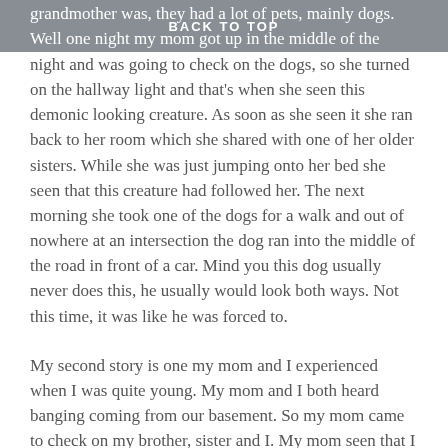BACK TO TOP
grandmother was, they had a lot of pets, mainly dogs. Well one night my mom got up in the middle of the night and was going to check on the dogs, so she turned on the hallway light and that's when she seen this demonic looking creature. As soon as she seen it she ran back to her room which she shared with one of her older sisters. While she was just jumping onto her bed she seen that this creature had followed her. The next morning she took one of the dogs for a walk and out of nowhere at an intersection the dog ran into the middle of the road in front of a car. Mind you this dog usually never does this, he usually would look both ways. Not this time, it was like he was forced to.
My second story is one my mom and I experienced when I was quite young. My mom and I both heard banging coming from our basement. So my mom came to check on my brother, sister and I. My mom seen that I was awake and if I had heard the banging too, I